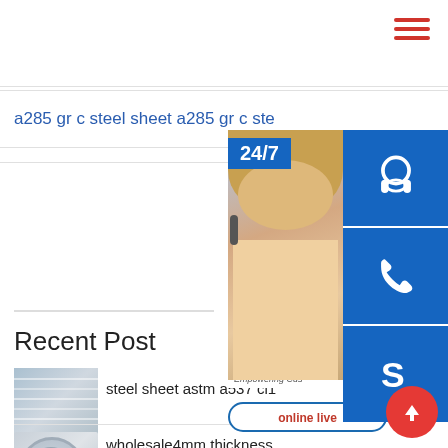[Figure (screenshot): Hamburger menu icon (three red horizontal lines) in top right corner]
a285 gr c steel sheet a285 gr c ste…
[Figure (infographic): Customer service sidebar overlay with 24/7 badge, female agent photo with headset, three blue icon buttons (headset, phone, Skype), online live button, and PROVIDE / Empowering Customers text]
Recent Post
[Figure (photo): Steel sheet thumbnail image]
steel sheet astm a537 cl1
[Figure (photo): Galvanized steel coil thumbnail image]
wholesale4mm thickness z275 hot dipped sheet
[Figure (other): Red circular scroll-to-top button with upward arrow]